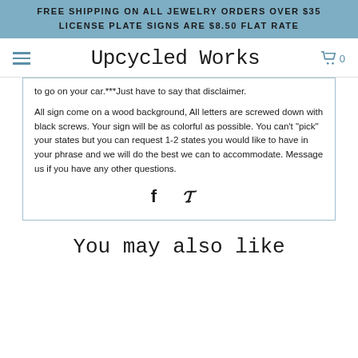FREE SHIPPING ON ALL JEWELRY ORDERS OVER $35
LICENSE PLATE SIGNS ARE $8.50 FLAT RATE
Upcycled Works
to go on your car.***Just have to say that disclaimer.
All sign come on a wood background, All letters are screwed down with black screws. Your sign will be as colorful as possible. You can't "pick" your states but you can request 1-2 states you would like to have in your phrase and we will do the best we can to accommodate. Message us if you have any other questions.
[Figure (illustration): Social media icons: Facebook (f) and Pinterest (P) symbols]
You may also like